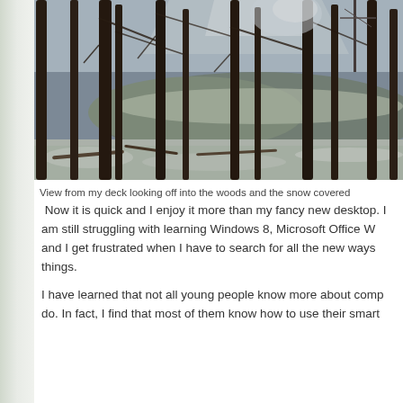[Figure (photo): Winter forest scene viewed from a deck, showing bare deciduous trees with dark trunks against a pale sky, snow-covered ground in the foreground and snowy hills/mountains visible in the background through the trees.]
View from my deck looking off into the woods and the snow covered
Now it is quick and I enjoy it more than my fancy new desktop. I am still struggling with learning Windows 8, Microsoft Office W and I get frustrated when I have to search for all the new ways things.
I have learned that not all young people know more about comp do. In fact, I find that most of them know how to use their smart